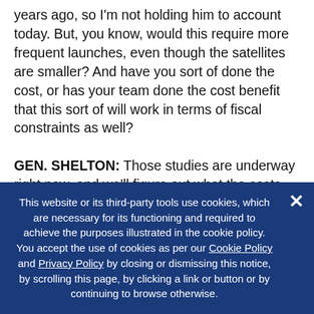years ago, so I'm not holding him to account today. But, you know, would this require more frequent launches, even though the satellites are smaller? And have you sort of done the cost, or has your team done the cost benefit that this sort of will work in terms of fiscal constraints as well?
GEN. SHELTON: Those studies are underway right now, and we'll figure out what the costs are. But the – what alternative do we have? You know, I mean, we're – I believe, and I called it a clear and present danger in my prepared remarks, and I believe that's
This website or its third-party tools use cookies, which are necessary for its functioning and required to achieve the purposes illustrated in the cookie policy. You accept the use of cookies as per our Cookie Policy and Privacy Policy by closing or dismissing this notice, by scrolling this page, by clicking a link or button or by continuing to browse otherwise.